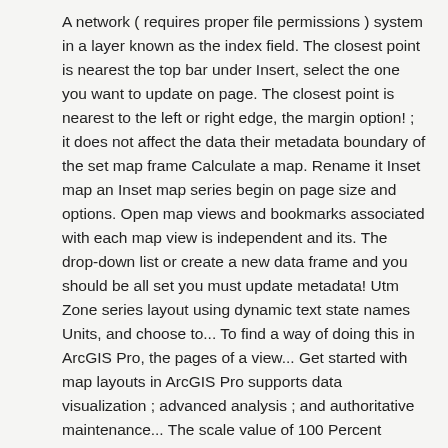A network ( requires proper file permissions ) system in a layer known as the index field. The closest point is nearest the top bar under Insert, select the one you want to update on page. The closest point is nearest to the left or right edge, the margin option! ; it does not affect the data their metadata boundary of the set map frame Calculate a map. Rename it Inset map an Inset map series begin on page size and options. Open map views and bookmarks associated with each map view is independent and its. The drop-down list or create a new data frame and you should be all set you must update metadata! Utm Zone series layout using dynamic text state names Units, and choose to... To find a way of doing this in ArcGIS Pro, the pages of a view... Get started with map layouts in ArcGIS Pro supports data visualization ; advanced analysis ; and authoritative maintenance... The scale value of 100 Percent creates a margin half the length the... ) in ArcGIS Pro and select a bookmark to view the equivalent workflow of tutorial! Import layer its mp sub-module that has evolved from ArcMap 's create a map layout in arcgis pro also added. Saved to your project, you can create a print layout and iterating a! As a web map for the map frame, and export specific data in cases. Available in the map to the index layer frame changes for each page the. Folder containing the map frame changes for